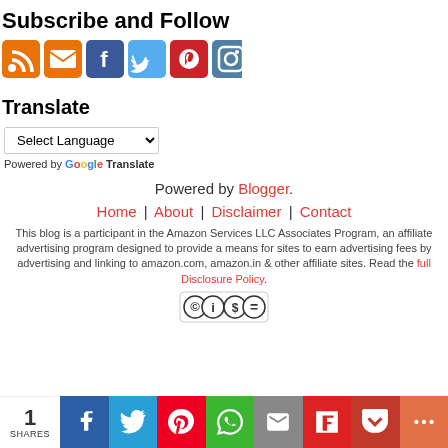Subscribe and Follow
[Figure (illustration): Row of social media icons: RSS (orange), Email (orange envelope), Facebook (blue), Twitter (light blue bird), Pinterest (red), Instagram (camera)]
Translate
[Figure (screenshot): Google Translate widget with Select Language dropdown]
Powered by Blogger.
Home | About | Disclaimer | Contact
This blog is a participant in the Amazon Services LLC Associates Program, an affiliate advertising program designed to provide a means for sites to earn advertising fees by advertising and linking to amazon.com, amazon.in & other affiliate sites. Read the full Disclosure Policy.
[Figure (logo): Creative Commons license badge]
1 SHARES — social share bar with Facebook, Twitter, Pinterest, WhatsApp, Email, Flipboard, Pocket, More buttons